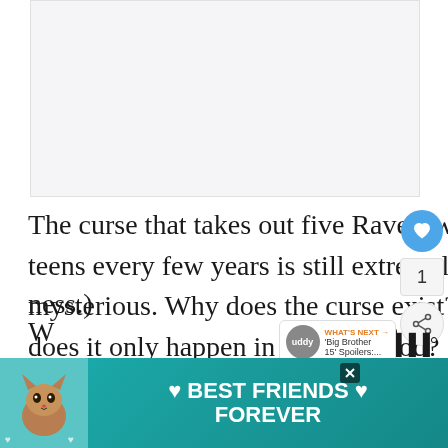[Figure (other): Blank advertisement placeholder area with light gray background]
The curse that takes out five Ravenswood teens every few years is still extremely mysterious. Why does the curse exist? Why does it only happen in Ravenswood? Why does the curse pick the teenagers on its kill list (... ness.)
[Figure (other): Social media sidebar with heart/like button (blue circle), count of 1, and share button]
[Figure (other): What's Next bubble showing 'Big Brother 15' Spoilers:... with buddy circle icon]
[Figure (other): Bottom banner ad: BEST FRIENDS FOREVER with cat image and heart icons on teal/dark background]